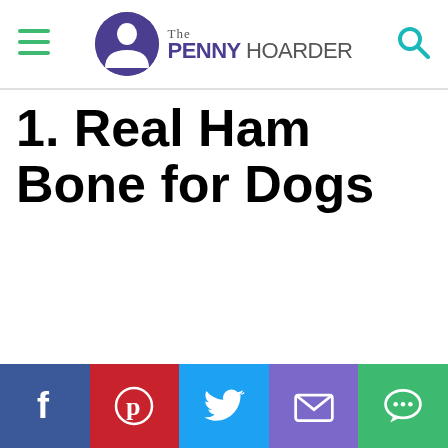The Penny Hoarder
1. Real Ham Bone for Dogs
Social share bar: Facebook, Pinterest, Twitter, Email, Chat